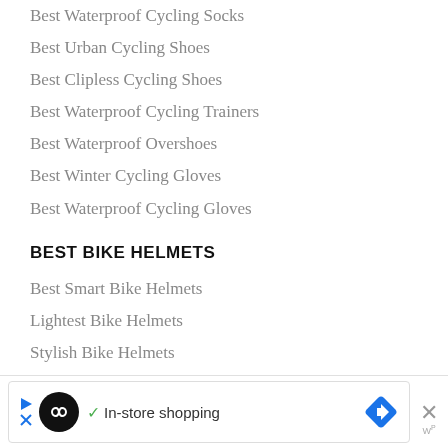Best Waterproof Cycling Socks
Best Urban Cycling Shoes
Best Clipless Cycling Shoes
Best Waterproof Cycling Trainers
Best Waterproof Overshoes
Best Winter Cycling Gloves
Best Waterproof Cycling Gloves
BEST BIKE HELMETS
Best Smart Bike Helmets
Lightest Bike Helmets
Stylish Bike Helmets
Best MIPS Bike Helmets
Best Helmets under £50
LIVALL MT1 v BH60SE: Helmet Comparison
[Figure (other): Advertisement banner: black circle icon with infinity symbol, checkmark, 'In-store shopping' text, blue diamond navigation icon, close X button]